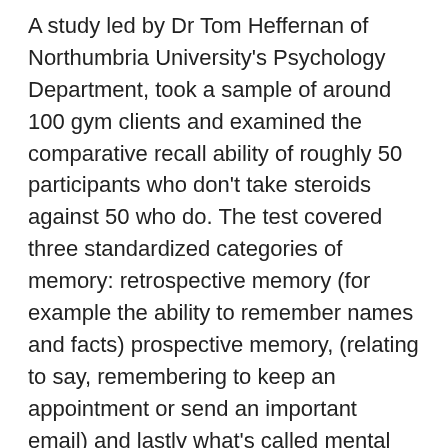A study led by Dr Tom Heffernan of Northumbria University's Psychology Department, took a sample of around 100 gym clients and examined the comparative recall ability of roughly 50 participants who don't take steroids against 50 who do. The test covered three standardized categories of memory: retrospective memory (for example the ability to remember names and facts) prospective memory, (relating to say, remembering to keep an appointment or send an important email) and lastly what's called mental executive function (taking to do with how often you might become confused or forget how to perform a task half way through).
Across the board those who worked out naturally – in what must have been an intensely satisfying role reversal – significantly outperformed those who